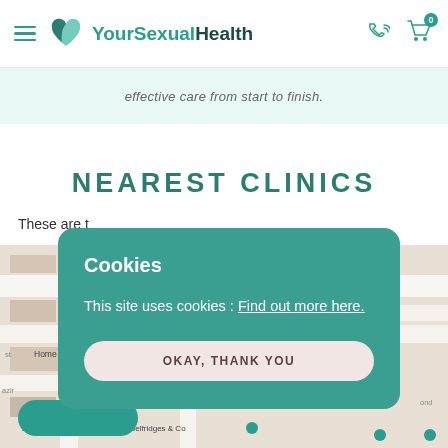YourSexualHealth — navigation header with hamburger menu, logo, phone icon, and cart (0)
effective care from start to finish.
NEAREST CLINICS
These are t[he nearest clinics to you]
[Figure (map): Street map showing area around Chiltern Firehouse, The Wallace Collection, Home House, with roads, labels for AS204, Selfridges & Co, and map pins]
Cookies

This site uses cookies : Find out more here.

OKAY, THANK YOU